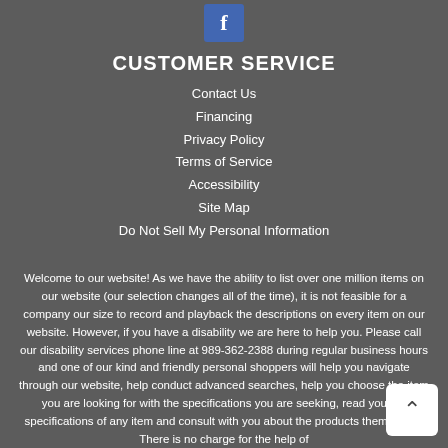[Figure (logo): Facebook icon: white letter f on blue square background]
CUSTOMER SERVICE
Contact Us
Financing
Privacy Policy
Terms of Service
Accessibility
Site Map
Do Not Sell My Personal Information
Welcome to our website! As we have the ability to list over one million items on our website (our selection changes all of the time), it is not feasible for a company our size to record and playback the descriptions on every item on our website. However, if you have a disability we are here to help you. Please call our disability services phone line at 989-362-2388 during regular business hours and one of our kind and friendly personal shoppers will help you navigate through our website, help conduct advanced searches, help you choose the item you are looking for with the specifications you are seeking, read you the specifications of any item and consult with you about the products themselves. There is no charge for the help of